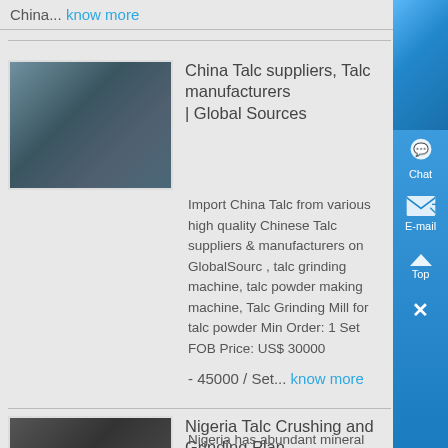China... know more
China Talc suppliers, Talc manufacturers | Global Sources
[Figure (photo): Photo of industrial machinery/equipment for talc grinding]
Import China Talc from various high quality Chinese Talc suppliers & manufacturers on GlobalSourc , talc grinding machine, talc powder making machine, Talc Grinding Mill for talc powder Min Order: 1 Set FOB Price: US$ 30000 - 45000 / Set... know more
Nigeria Talc Crushing and Grinding Plant Supplier
[Figure (photo): Photo of talc crushing and grinding equipment]
Nigeria has abundant mineral resources, of which, about 100 million tones of talc reserves